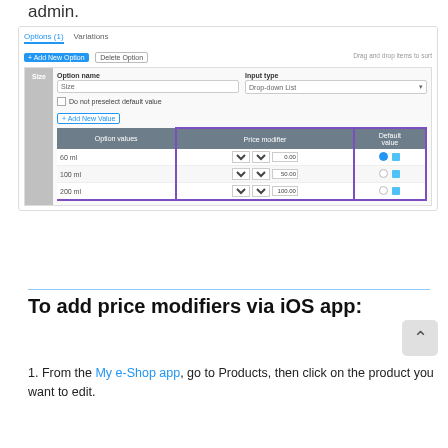admin.
[Figure (screenshot): E-commerce admin product options panel showing Size option with three values (60 ml, 100 ml, 200 ml), each with Price modifier column (highlighted with purple border) showing currency selectors (R) and amounts (0.00, 50.00, 100.00), and a Default value column.]
To add price modifiers via iOS app:
1. From the My e-Shop app, go to Products, then click on the product you want to edit.